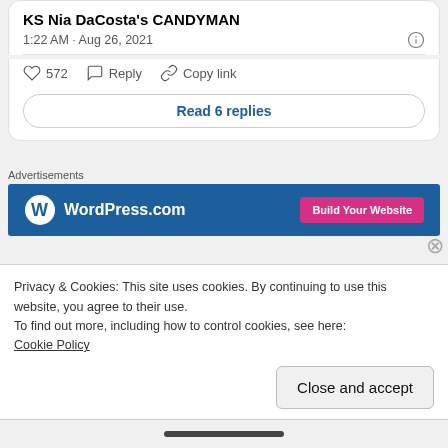KS Nia DaCosta's CANDYMAN
1:22 AM · Aug 26, 2021
572   Reply   Copy link
Read 6 replies
Advertisements
[Figure (screenshot): WordPress.com advertisement banner with blue background, WordPress logo on left, and pink 'Build Your Website' button on right]
Other than that, Universal and the filmmakers
Privacy & Cookies: This site uses cookies. By continuing to use this website, you agree to their use.
To find out more, including how to control cookies, see here: Cookie Policy
Close and accept